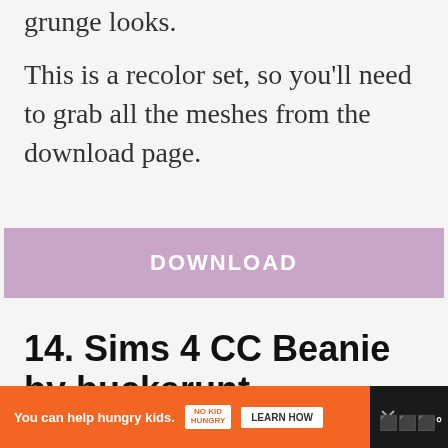grunge looks.
This is a recolor set, so you'll need to grab all the meshes from the download page.
[Figure (other): Purple/mauve DOWNLOAD button]
14. Sims 4 CC Beanie by buckarunt
[Figure (other): Advertisement banner: orange bar with 'You can help hungry kids.' No Kid Hungry logo and LEARN HOW button]